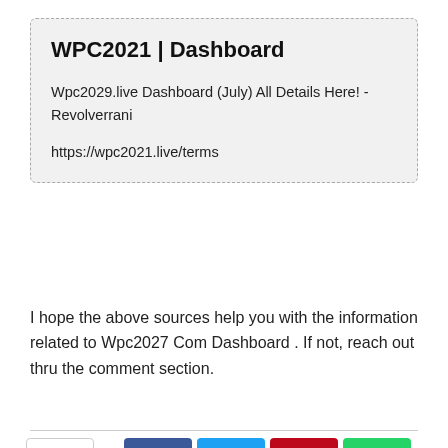WPC2021 | Dashboard
Wpc2029.live Dashboard (July) All Details Here! - Revolverrani
https://wpc2021.live/terms
I hope the above sources help you with the information related to Wpc2027 Com Dashboard . If not, reach out thru the comment section.
[Figure (other): Social share bar with share icon button, arrow, Facebook, Twitter, Pinterest, and WhatsApp share buttons]